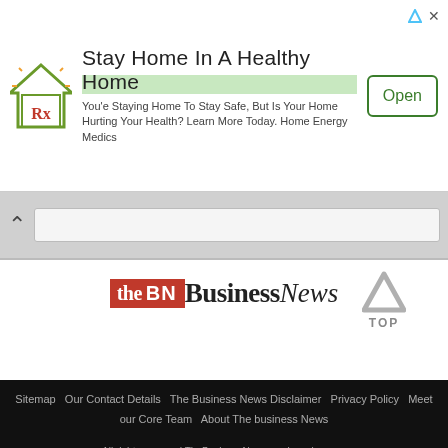[Figure (infographic): Advertisement banner: house icon with Rx symbol, headline 'Stay Home In A Healthy Home', body text 'You'e Staying Home To Stay Safe, But Is Your Home Hurting Your Health? Learn More Today. Home Energy Medics', and an 'Open' button on the right. Top-right has blue arrow and X icons.]
[Figure (screenshot): Browser navigation bar with back (^) button and URL input field, on grey background.]
[Figure (logo): The Business News logo: red box with 'theBN' and 'BusinessNews' in serif font.]
[Figure (infographic): Grey upward-pointing caret/arrow icon above the text 'TOP'.]
Sitemap   Our Contact Details   The Business News Disclaimer   Privacy Policy   Meet our Core Team   About The business News

All rights reserved TheBusinessNews.org by sai sravya contact me: sravya@thebusinessnews.org